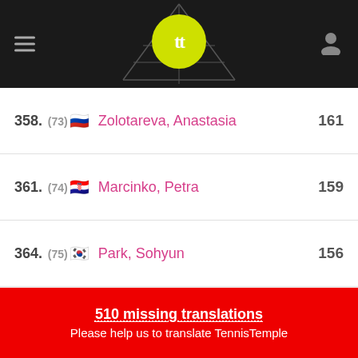[Figure (logo): TennisTemple app header with dark background, tennis court outline, yellow-green circular logo with TT letters, hamburger menu icon on left, user icon on right]
358. (73) Zolotareva, Anastasia 161
361. (74) Marcinko, Petra 159
364. (75) Park, Sohyun 156
365. (76) Charaeva, Alina 156
368. (77) Hennemann, Caijsa 153
372. (78) Bartone, Kamilla 151
377. (79) Stearns, Peyton 146
378. (80) Koval, Vlada 145
510 missing translations
Please help us to translate TennisTemple